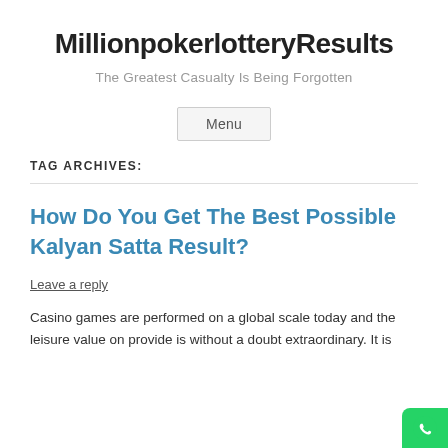MillionpokerlotteryResults
The Greatest Casualty Is Being Forgotten
Menu
TAG ARCHIVES:
How Do You Get The Best Possible Kalyan Satta Result?
Leave a reply
Casino games are performed on a global scale today and the leisure value on provide is without a doubt extraordinary. It is